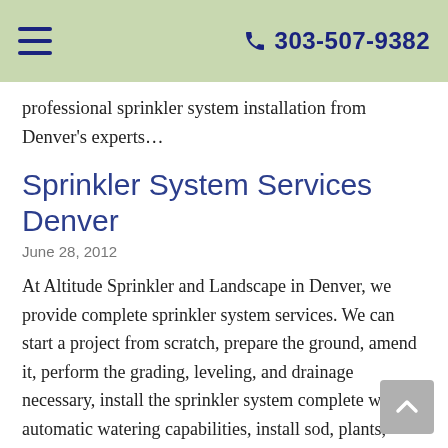☰   📞 303-507-9382
professional sprinkler system installation from Denver's experts…
Sprinkler System Services Denver
June 28, 2012
At Altitude Sprinkler and Landscape in Denver, we provide complete sprinkler system services. We can start a project from scratch, prepare the ground, amend it, perform the grading, leveling, and drainage necessary, install the sprinkler system complete with automatic watering capabilities, install sod, plants, grass, pavers, sand, gravel, patios, hardscaping, trenching, trees, lighting, shrubs, rocks…